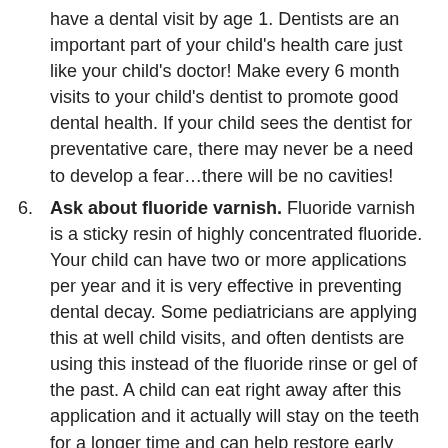have a dental visit by age 1. Dentists are an important part of your child's health care just like your child's doctor! Make every 6 month visits to your child's dentist to promote good dental health. If your child sees the dentist for preventative care, there may never be a need to develop a fear…there will be no cavities!
6. Ask about fluoride varnish. Fluoride varnish is a sticky resin of highly concentrated fluoride. Your child can have two or more applications per year and it is very effective in preventing dental decay. Some pediatricians are applying this at well child visits, and often dentists are using this instead of the fluoride rinse or gel of the past. A child can eat right away after this application and it actually will stay on the teeth for a longer time and can help restore early decay.
So those are some of the best tips to prevent decay in